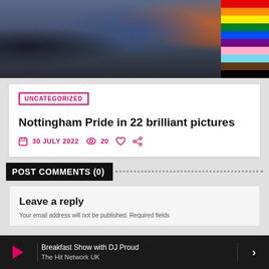[Figure (photo): Crowd of people at Nottingham Pride event with rainbow/progress pride flags visible on the right side, people dressed in various colorful outfits]
UNCATEGORIZED
Nottingham Pride in 22 brilliant pictures
30 JULY 2022  20
POST COMMENTS (0)
Leave a reply
Breakfast Show with DJ Proud
The Hit Network UK